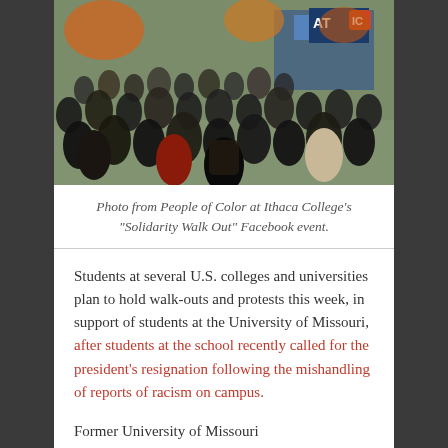[Figure (photo): Crowd of students gathered outdoors on a college campus for a protest/walkout event, with a blue building sign reading 'AT IC' visible in the background. Trees with autumn foliage visible.]
Photo from People of Color at Ithaca College's “Solidarity Walk Out” Facebook event.
Students at several U.S. colleges and universities plan to hold walk-outs and protests this week, in support of students at the University of Missouri, after students at the school recently called for the president’s resignation following the mishandling of reports of racism on campus.
Former University of Missouri